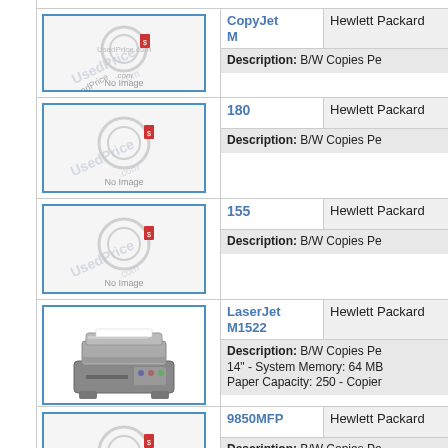| Image | Model | Brand | Description |
| --- | --- | --- | --- |
| [No Image] | CopyJet M | Hewlett Packard | Description: B/W Copies Pe... |
| [No Image] | 180 | Hewlett Packard | Description: B/W Copies Pe... |
| [No Image] | 155 | Hewlett Packard | Description: B/W Copies Pe... |
| [Printer Image] | LaserJet M1522 | Hewlett Packard | Description: B/W Copies Pe... 14" - System Memory: 64 MB... Paper Capacity: 250 - Copier... |
| [No Image] | 9850MFP | Hewlett Packard | Description: B/W Copies Pe... |